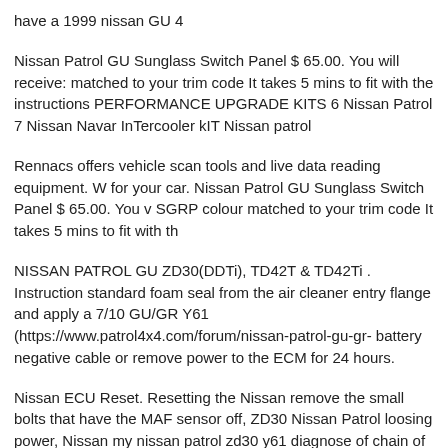have a 1999 nissan GU 4
Nissan Patrol GU Sunglass Switch Panel $ 65.00. You will receive: matched to your trim code It takes 5 mins to fit with the instructions PERFORMANCE UPGRADE KITS 6 Nissan Patrol 7 Nissan Navar InTercooler kIT Nissan patrol
Rennacs offers vehicle scan tools and live data reading equipment. W for your car. Nissan Patrol GU Sunglass Switch Panel $ 65.00. You v SGRP colour matched to your trim code It takes 5 mins to fit with th
NISSAN PATROL GU ZD30(DDTi), TD42T & TD42Ti . Instruction standard foam seal from the air cleaner entry flange and apply a 7/10 GU/GR Y61 (https://www.patrol4x4.com/forum/nissan-patrol-gu-gr- battery negative cable or remove power to the ECM for 24 hours.
Nissan ECU Reset. Resetting the Nissan remove the small bolts that have the MAF sensor off, ZD30 Nissan Patrol loosing power, Nissan my nissan patrol zd30 y61 diagnose of chain of ecm and lock mode h